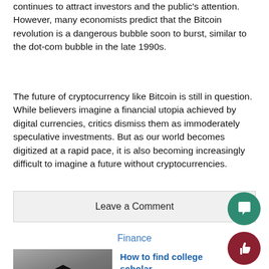continues to attract investors and the public's attention. However, many economists predict that the Bitcoin revolution is a dangerous bubble soon to burst, similar to the dot-com bubble in the late 1990s.
The future of cryptocurrency like Bitcoin is still in question. While believers imagine a financial utopia achieved by digital currencies, critics dismiss them as immoderately speculative investments. But as our world becomes digitized at a rapid pace, it is also becoming increasingly difficult to imagine a future without cryptocurrencies.
Leave a Comment
Finance
[Figure (photo): College scholarships image showing graduation cap with text COLLEGE SCHOLARSHIPS]
How to find college scholarships